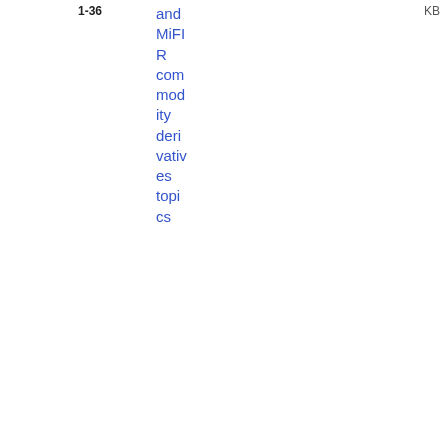1-36
and MiFIR commodity derivatives topics
KB
| Date | Reference | Title | Tag | Type | File |
| --- | --- | --- | --- | --- | --- |
| 20/05/2022 | ESMA 70-87294290 1-35 | Q&A on MiFID II and MiFIR transparency | MiFID - Secondary Markets | Q&A | PDF
1001.92 KB |